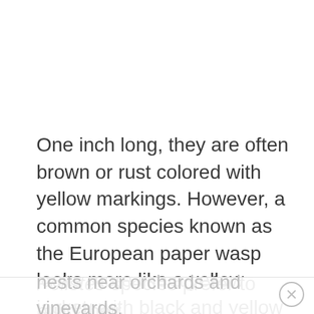One inch long, they are often brown or rust colored with yellow markings. However, a common species known as the European paper wasp looks more like a yellow jacket, with black and yellow markings.
Polistes species prefer to build their nests near orchards and vineyards.